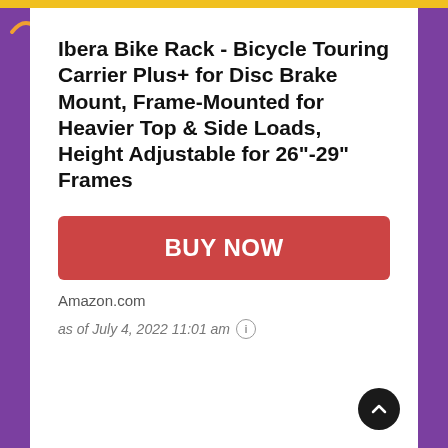[Figure (logo): Small orange/coral arc logo icon in top-left corner above the card]
Ibera Bike Rack - Bicycle Touring Carrier Plus+ for Disc Brake Mount, Frame-Mounted for Heavier Top & Side Loads, Height Adjustable for 26"-29" Frames
[Figure (other): Red BUY NOW button]
Amazon.com
as of July 4, 2022 11:01 am